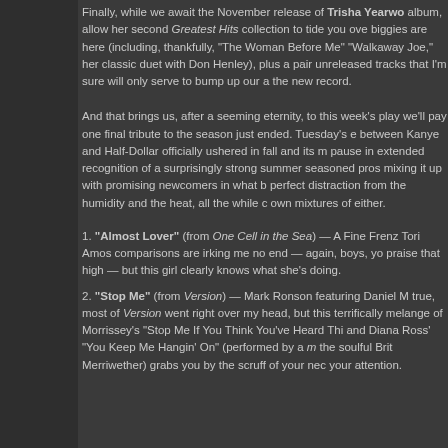Finally, while we await the November release of Trisha Yearwo... album, allow her second Greatest Hits collection to tide you ove... biggies are here (including, thankfully, "The Woman Before Me"... "Walkaway Joe," her classic duet with Don Henley), plus a pair... unreleased tracks that I'm sure will only serve to bump up our a... the new record.
And that brings us, after a seeming eternity, to this week's play... we'll pay one final tribute to the season just ended. Tuesday's e... between Kanye and Half-Dollar officially ushered in fall and its m... pause in extended recognition of a surprisingly strong summer ... seasoned pros mixing it up with promising newcomers in what b... perfect distraction from the humidity and the heat, all the while c... own mixtures of either.
1. "Almost Lover" (from One Cell in the Sea) — A Fine Frenz... Tori Amos comparisons are irking me no end — again, boys, yo... praise that high — but this girl clearly knows what she's doing.
2. "Stop Me" (from Version) — Mark Ronson featuring Daniel M... true, most of Version went right over my head, but this terrifically... melange of Morrissey's "Stop Me If You Think You've Heard Thi... and Diana Ross' "You Keep Me Hangin' On" (performed by a m... the soulful Brit Merriwether) grabs you by the scruff of your nec... your attention.